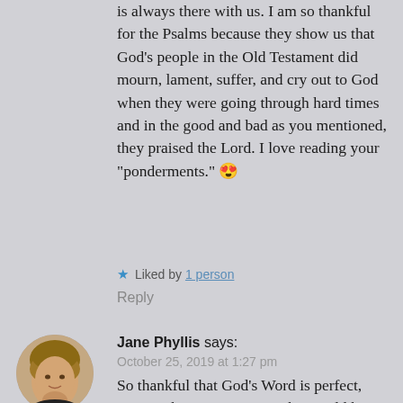is always there with us. I am so thankful for the Psalms because they show us that God’s people in the Old Testament did mourn, lament, suffer, and cry out to God when they were going through hard times and in the good and bad as you mentioned, they praised the Lord. I love reading your “ponderments.” 😍
★ Liked by 1 person
Reply
[Figure (photo): Circular avatar photo of Jane Phyllis, a woman with short brown hair, smiling]
Jane Phyllis says:
October 25, 2019 at 1:27 pm
So thankful that God’s Word is perfect, even in the punctuation! Who would have ever analyzed the semi colons but